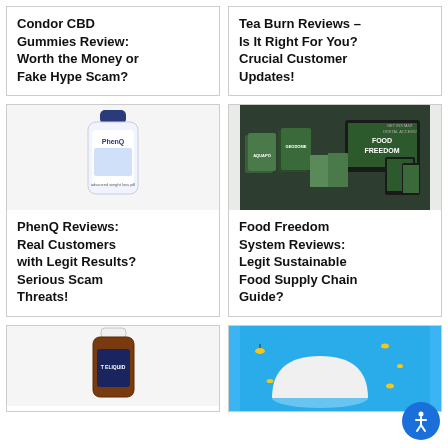Condor CBD Gummies Review: Worth the Money or Fake Hype Scam?
Tea Burn Reviews – Is It Right For You? Crucial Customer Updates!
[Figure (photo): PhenQ supplement bottle, white with blue cap and label]
PhenQ Reviews: Real Customers with Legit Results? Serious Scam Threats!
[Figure (photo): Food Freedom System digital product bundle with books and digital devices on green/dark background]
Food Freedom System Reviews: Legit Sustainable Food Supply Chain Guide?
[Figure (photo): Dark amber supplement bottle with white cap and blue label]
[Figure (photo): Blue background with a white dome/hive shape and small bees flying around it]
[Figure (illustration): Accessibility icon button (person in circle, blue background)]